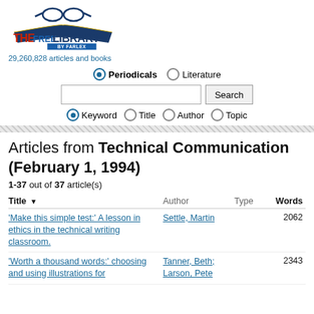[Figure (logo): The Free Library by Farlex logo with glasses and open book graphic]
29,260,828 articles and books
Periodicals  Literature (radio buttons)
Search input box with Search button
Keyword  Title  Author  Topic (radio buttons)
Articles from Technical Communication (February 1, 1994)
1-37 out of 37 article(s)
| Title | Author | Type | Words |
| --- | --- | --- | --- |
| 'Make this simple test:' A lesson in ethics in the technical writing classroom. | Settle, Martin |  | 2062 |
| 'Worth a thousand words:' choosing and using illustrations for | Tanner, Beth; Larson, Pete |  | 2343 |